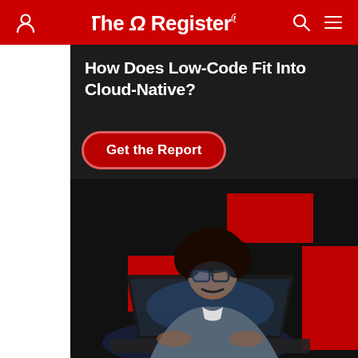The Register
[Figure (screenshot): Advertisement banner on The Register website. Dark background with text 'How Does Low-Code Fit Into Cloud-Native?' and a red 'Get the Report' button. Lower portion shows a person working on a laptop with decorative red blocks in the background.]
How Does Low-Code Fit Into Cloud-Native?
Get the Report